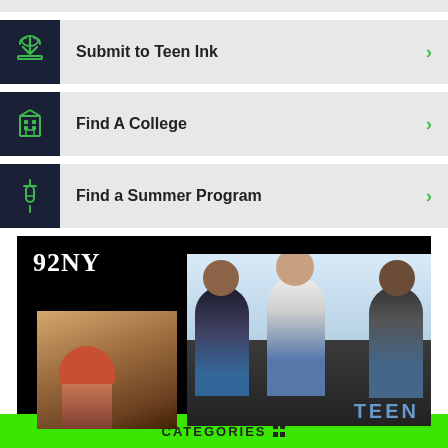Submit to Teen Ink
Find A College
Find a Summer Program
[Figure (photo): 92NY advertisement banner with logo, a girl doing craft work, and three teenagers sitting on a couch, with TEEN text overlay]
CATEGORIES